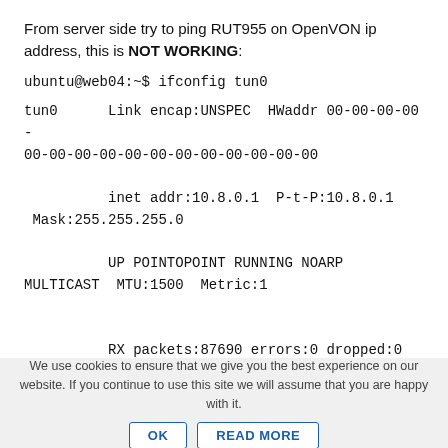From server side try to ping RUT955 on OpenVON ip address, this is NOT WORKING:
ubuntu@web04:~$ ifconfig tun0
tun0      Link encap:UNSPEC  HWaddr 00-00-00-00-00-00-00-00-00-00-00-00-00-00-00-00
          inet addr:10.8.0.1  P-t-P:10.8.0.1  Mask:255.255.255.0
          UP POINTOPOINT RUNNING NOARP MULTICAST  MTU:1500  Metric:1
          RX packets:87690 errors:0 dropped:0 overruns:0 frame:0
We use cookies to ensure that we give you the best experience on our website. If you continue to use this site we will assume that you are happy with it.